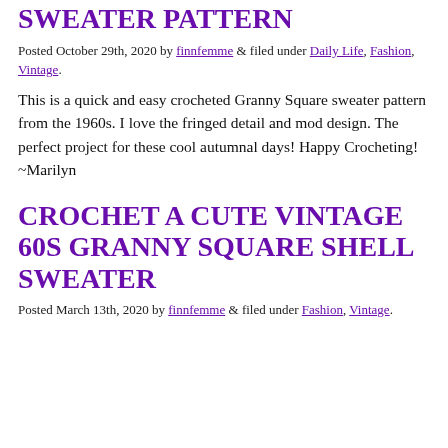SWEATER PATTERN
Posted October 29th, 2020 by finnfemme & filed under Daily Life, Fashion, Vintage.
This is a quick and easy crocheted Granny Square sweater pattern from the 1960s. I love the fringed detail and mod design. The perfect project for these cool autumnal days! Happy Crocheting! ~Marilyn
CROCHET A CUTE VINTAGE 60S GRANNY SQUARE SHELL SWEATER
Posted March 13th, 2020 by finnfemme & filed under Fashion, Vintage.